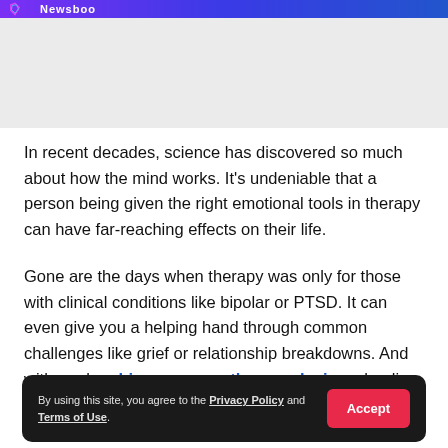Newsboo
In recent decades, science has discovered so much about how the mind works. It's undeniable that a person being given the right emotional tools in therapy can have far-reaching effects on their life.
Gone are the days when therapy was only for those with clinical conditions like bipolar or PTSD. It can even give you a helping hand through common challenges like grief or relationship breakdowns. And with modern bioresonance therapy devices, healing is also painless and easy.
By using this site, you agree to the Privacy Policy and Terms of Use.